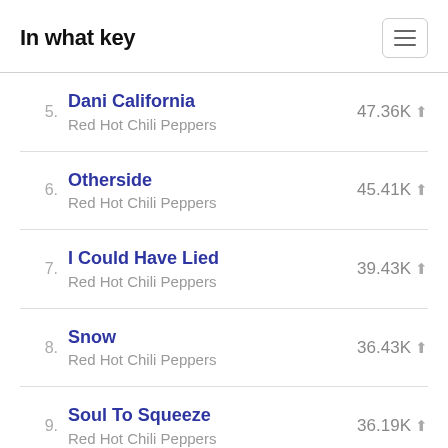In what key
5. Dani California — Red Hot Chili Peppers — 47.36K
6. Otherside — Red Hot Chili Peppers — 45.41K
7. I Could Have Lied — Red Hot Chili Peppers — 39.43K
8. Snow — Red Hot Chili Peppers — 36.43K
9. Soul To Squeeze — Red Hot Chili Peppers — 36.19K